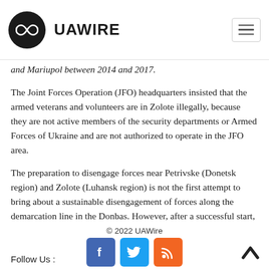UAWIRE
and Mariupol between 2014 and 2017.
The Joint Forces Operation (JFO) headquarters insisted that the armed veterans and volunteers are in Zolote illegally, because they are not active members of the security departments or Armed Forces of Ukraine and are not authorized to operate in the JFO area.
The preparation to disengage forces near Petrivske (Donetsk region) and Zolote (Luhansk region) is not the first attempt to bring about a sustainable disengagement of forces along the demarcation line in the Donbas. However, after a successful start, the militants are returning to their positions, and the Kremlin has already said that Moscow cannot guarantee the withdrawal of pro-Russian Russian forces.
Avakov, Zolote, Donbas, Zelensky
© 2022 UAWire